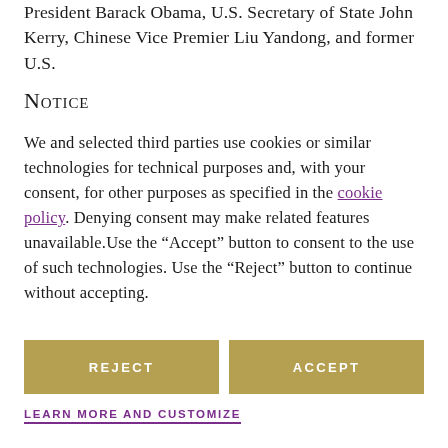President Barack Obama, U.S. Secretary of State John Kerry, Chinese Vice Premier Liu Yandong, and former U.S.
Notice
We and selected third parties use cookies or similar technologies for technical purposes and, with your consent, for other purposes as specified in the cookie policy. Denying consent may make related features unavailable.Use the “Accept” button to consent to the use of such technologies. Use the “Reject” button to continue without accepting.
REJECT
ACCEPT
LEARN MORE AND CUSTOMIZE